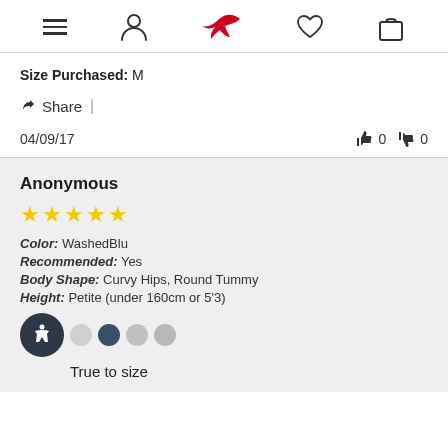Navigation header with menu, profile, bird logo, heart, and bag icons
Size Purchased: M
Share |
04/09/17  👍 0  👎 0
Anonymous
★★★★★
Color: WashedBlu
Recommended: Yes
Body Shape: Curvy Hips, Round Tummy
Height: Petite (under 160cm or 5'3)
True to size